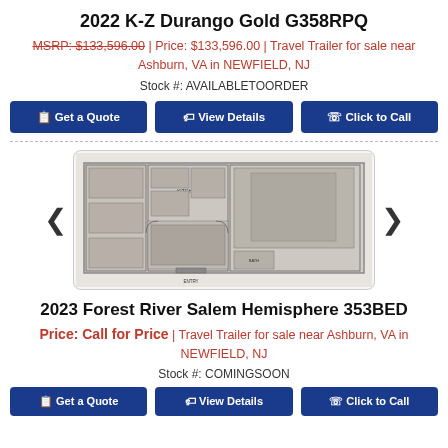2022 K-Z Durango Gold G358RPQ
MSRP: $133,596.00 | Price: $133,596.00 | Travel Trailer for sale near Ashburn, VA in NEWFIELD, NJ
Stock #: AVAILABLETOORDER
[Figure (other): Three blue call-to-action buttons: Get a Quote, View Details, Click to Call]
[Figure (engineering-diagram): RV floor plan diagram showing interior layout of the 2022 K-Z Durango Gold G358RPQ travel trailer, with rooms and furniture labeled]
2023 Forest River Salem Hemisphere 353BED
Price: Call for Price | Travel Trailer for sale near Ashburn, VA in NEWFIELD, NJ
Stock #: COMINGSOON
[Figure (other): Three blue call-to-action buttons: Get a Quote, View Details, Click to Call (partially visible)]